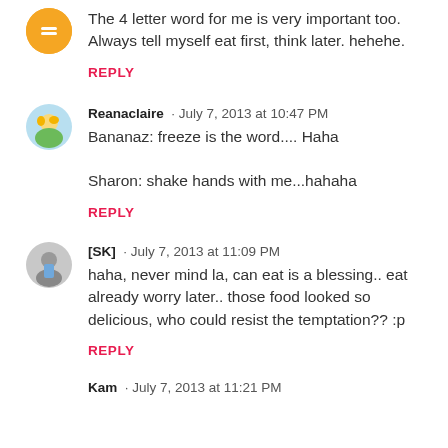The 4 letter word for me is very important too. Always tell myself eat first, think later. hehehe.
REPLY
Reanaclaire · July 7, 2013 at 10:47 PM
Bananaz: freeze is the word.... Haha
Sharon: shake hands with me...hahaha
REPLY
[SK] · July 7, 2013 at 11:09 PM
haha, never mind la, can eat is a blessing.. eat already worry later.. those food looked so delicious, who could resist the temptation?? :p
REPLY
Kam · July 7, 2013 at 11:21 PM